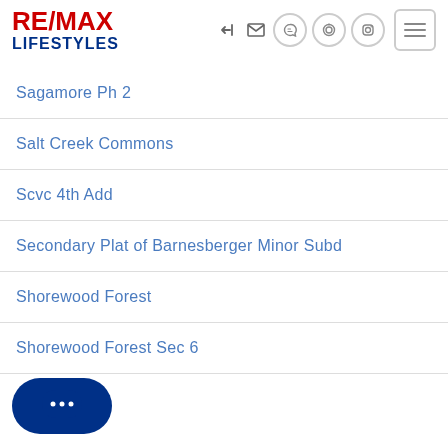[Figure (logo): RE/MAX Lifestyles logo with red RE/MAX text and blue LIFESTYLES text]
Sagamore Ph 2
Salt Creek Commons
Scvc 4th Add
Secondary Plat of Barnesberger Minor Subd
Shorewood Forest
Shorewood Forest Sec 6
Sievers Park